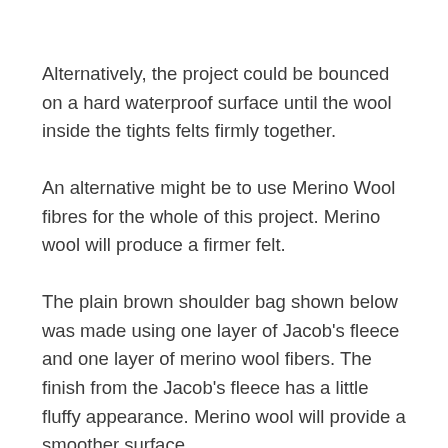Alternatively, the project could be bounced on a hard waterproof surface until the wool inside the tights felts firmly together.
An alternative might be to use Merino Wool fibres for the whole of this project. Merino wool will produce a firmer felt.
The plain brown shoulder bag shown below was made using one layer of Jacob's fleece and one layer of merino wool fibers. The finish from the Jacob's fleece has a little fluffy appearance. Merino wool will provide a smoother surface.